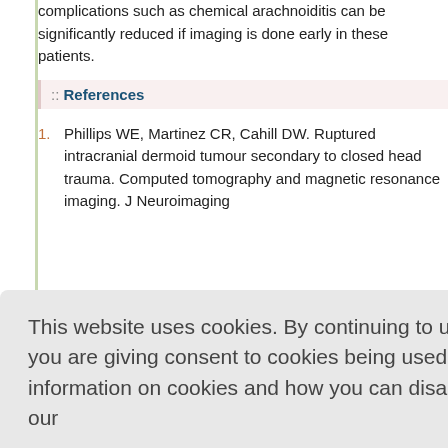complications such as chemical arachnoiditis can be significantly reduced if imaging is done early in these patients.
:: References
1. Phillips WE, Martinez CR, Cahill DW. Ruptured intracranial dermoid tumour secondary to closed head trauma. Computed tomography and magnetic resonance imaging. J Neuroimaging
This website uses cookies. By continuing to use this website you are giving consent to cookies being used. For information on cookies and how you can disable them visit our Privacy and Cookie Policy. AGREE & PROCEED
naz R. dermoid an erior fossa 9. ens, L. CT dermoid c : report of '5:41-3. narel P. CT nial 991; 33:14 151.